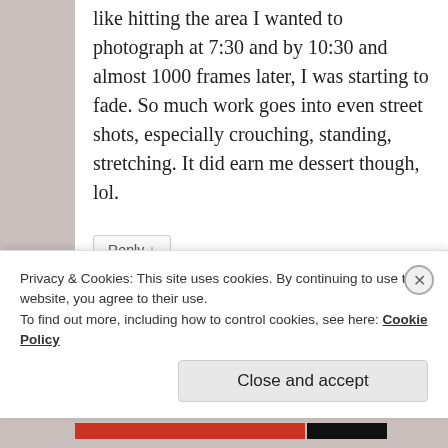like hitting the area I wanted to photograph at 7:30 and by 10:30 and almost 1000 frames later, I was starting to fade. So much work goes into even street shots, especially crouching, standing, stretching. It did earn me dessert though, lol.
Reply ↓
Privacy & Cookies: This site uses cookies. By continuing to use this website, you agree to their use. To find out more, including how to control cookies, see here: Cookie Policy
Close and accept